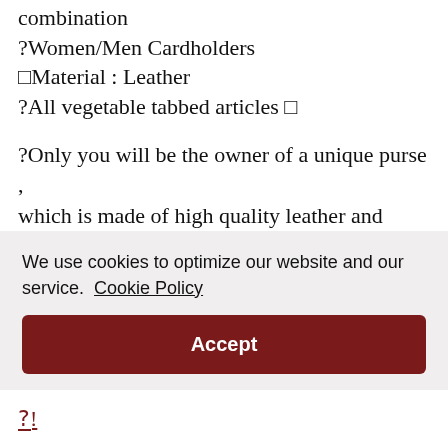combination
?Women/Men Cardholders
□Material : Leather
?All vegetable tabbed articles □
?Only you will be the owner of a unique purse , which is made of high quality leather and combined in various color tones.
□You can use it every day. It will bring you
We use cookies to optimize our website and our service.  Cookie Policy
Accept
?Women/Men Cardhol...